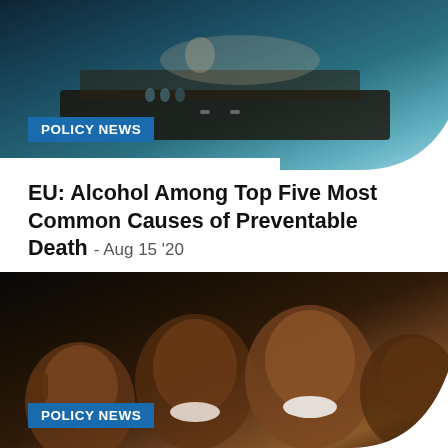[Figure (photo): Dark atmospheric photo showing a person reclining, teal/blue toned nightclub or bar setting]
POLICY NEWS
EU: Alcohol Among Top Five Most Common Causes of Preventable Death - Aug 15 '20
[Figure (photo): Photo of smiling African children, dark background]
POLICY NEWS